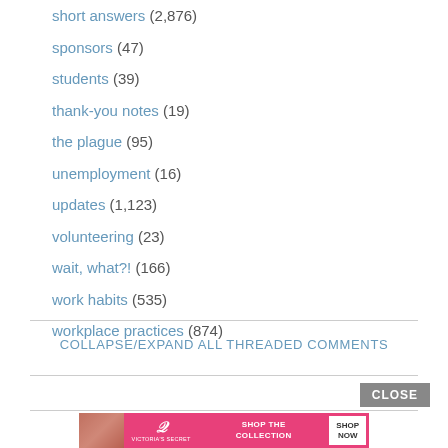short answers (2,876)
sponsors (47)
students (39)
thank-you notes (19)
the plague (95)
unemployment (16)
updates (1,123)
volunteering (23)
wait, what?! (166)
work habits (535)
workplace practices (874)
COLLAPSE/EXPAND ALL THREADED COMMENTS
[Figure (photo): Victoria's Secret advertisement banner with model, VS logo, 'SHOP THE COLLECTION' text and 'SHOP NOW' button]